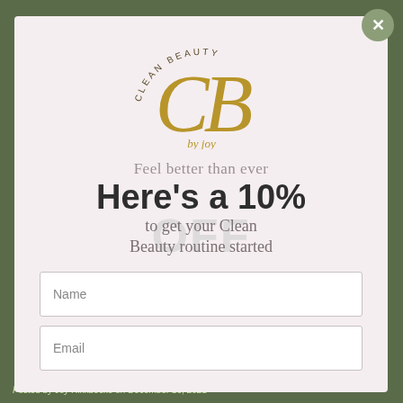[Figure (logo): Clean Beauty by Joy logo — arched text 'CLEAN BEAUTY' above stylized golden 'CB' monogram, with 'by joy' beneath in italic gold]
Feel better than ever
Here's a 10% OFF
to get your Clean Beauty routine started
Name
Email
Posted by Joy Rikkbecke on December 16, 2021